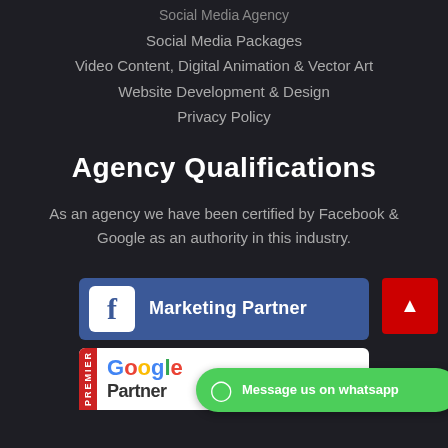Social Media Agency
Social Media Packages
Video Content, Digital Animation & Vector Art
Website Development & Design
Privacy Policy
Agency Qualifications
As an agency we have been certified by Facebook & Google as an authority in this industry.
[Figure (logo): Facebook Marketing Partner badge - blue rectangle with white Facebook 'f' icon and text 'Marketing Partner']
[Figure (logo): Google Partner badge - partially visible, white rectangle with red side bar reading 'PREMIER', Google logo text and 'Partner' text below]
Message us on whatsapp